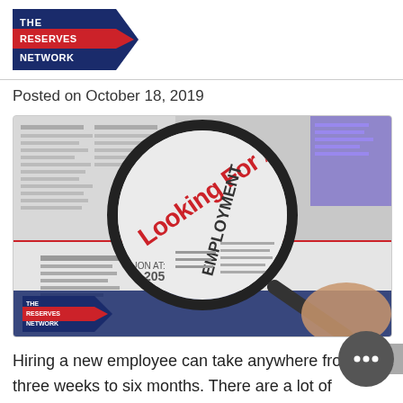[Figure (logo): The Reserves Network logo — navy blue and red chevron/arrow shape with white text 'THE RESERVES NETWORK']
Posted on October 18, 2019
[Figure (photo): Newspaper classified ads page with a magnifying glass highlighting text 'Looking For A Job?' in red, with 'EMPLOYMENT' section visible. The Reserves Network watermark logo at bottom left.]
Hiring a new employee can take anywhere from three weeks to six months. There are a lot of reasons why hiring can drag on, but typically it boils down to a lack of resources and time.